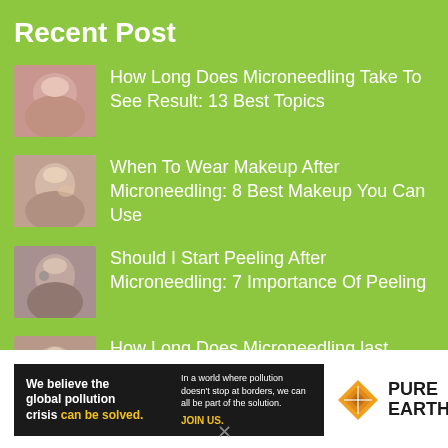Recent Post
How Long Does Microneedling Take To See Result: 13 Best Topics
When To Wear Makeup After Microneedling: 8 Best Makeup You Can Use
Should I Start Peeling After Microneedling: 7 Importance Of Peeling
How Long Does Microneedling last...
[Figure (infographic): Advertisement banner for Pure Earth: 'We believe the global pollution crisis can be solved.' with tagline 'In a world where pollution doesn't stop at borders, we can all be part of the solution. JOIN US.' and Pure Earth logo with orange diamond icon.]